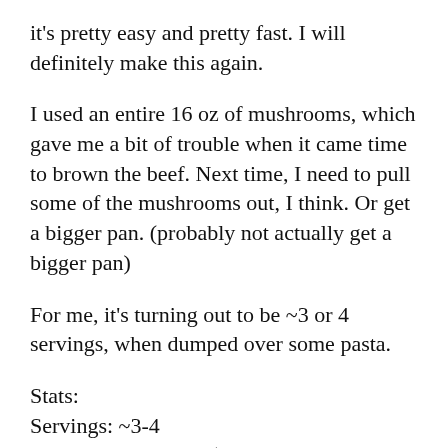it's pretty easy and pretty fast. I will definitely make this again.
I used an entire 16 oz of mushrooms, which gave me a bit of trouble when it came time to brown the beef. Next time, I need to pull some of the mushrooms out, I think. Or get a bigger pan. (probably not actually get a bigger pan)
For me, it's turning out to be ~3 or 4 servings, when dumped over some pasta.
Stats:
Servings: ~3-4
Time to cook: ~1 hr (I let the mushrooms cook down quite a lot before adding the beef, and waited till the beef started browning, not just cooked.)
Rating: 3/5
Would make again? yes